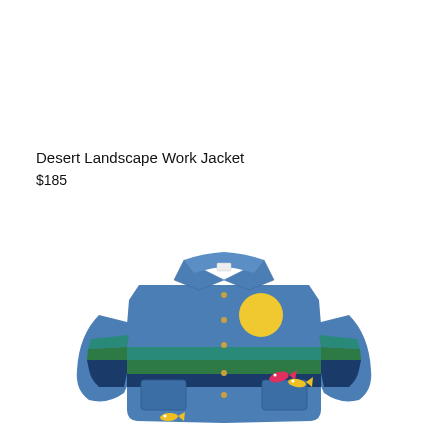Desert Landscape Work Jacket
$185
[Figure (photo): Blue work jacket with desert landscape design featuring a yellow sun patch on the chest, horizontal stripe panels in green, teal, and dark blue around the lower body and sleeves, colorful fish embroidery near the pockets, and snap button closure.]